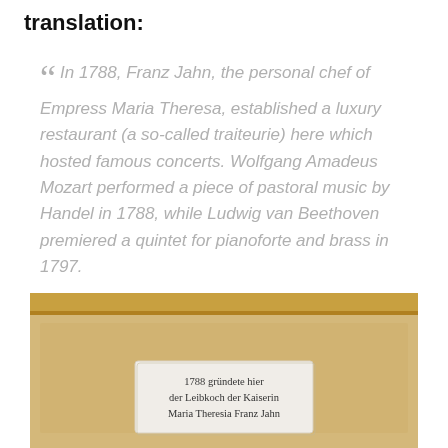translation:
" In 1788, Franz Jahn, the personal chef of Empress Maria Theresa, established a luxury restaurant (a so-called traiteurie) here which hosted famous concerts. Wolfgang Amadeus Mozart performed a piece of pastoral music by Handel in 1788, while Ludwig van Beethoven premiered a quintet for pianoforte and brass in 1797.
[Figure (photo): Photograph of a stone or textured wall plaque with German text reading '1788 gründete hier der Leibkoch der Kaiserin Maria Theresia Franz Jahn']